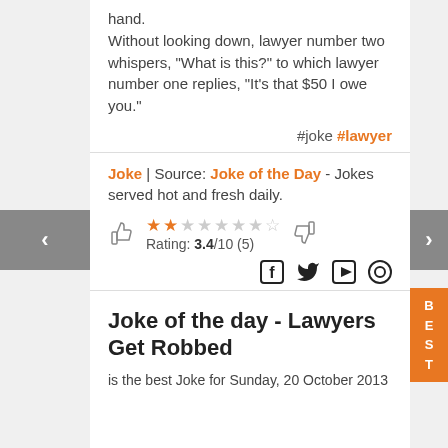hand.
Without looking down, lawyer number two whispers, "What is this?" to which lawyer number one replies, "It's that $50 I owe you."
#joke #lawyer
Joke | Source: Joke of the Day - Jokes served hot and fresh daily.
Rating: 3.4/10 (5)
Joke of the day - Lawyers Get Robbed
is the best Joke for Sunday, 20 October 2013